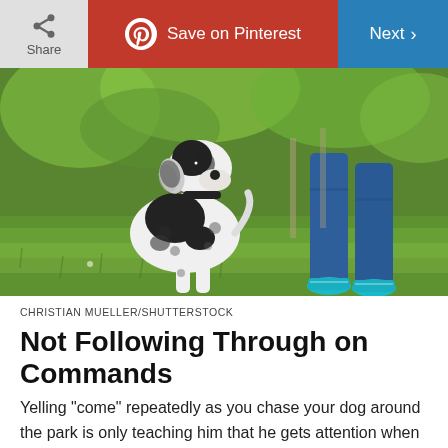Share | Save on Pinterest | Next
[Figure (photo): A black and white spotted dog sitting on green grass, looking up at a person's legs wearing blue jeans and teal sneakers.]
CHRISTIAN MUELLER/SHUTTERSTOCK
Not Following Through on Commands
Yelling “come” repeatedly as you chase your dog around the park is only teaching him that he gets attention when he misbehaves, Newman says. “To